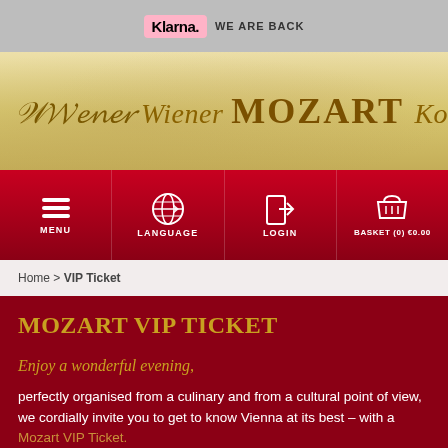Klarna. WE ARE BACK
[Figure (logo): Wiener Mozart Konzerte banner with gold script text and Mozart bust silhouette]
[Figure (infographic): Navigation bar with MENU, LANGUAGE, LOGIN, BASKET (0) €0.00 icons on dark red background]
Home > VIP Ticket
MOZART VIP TICKET
Enjoy a wonderful evening,
perfectly organised from a culinary and from a cultural point of view, we cordially invite you to get to know Vienna at its best – with a Mozart VIP Ticket.